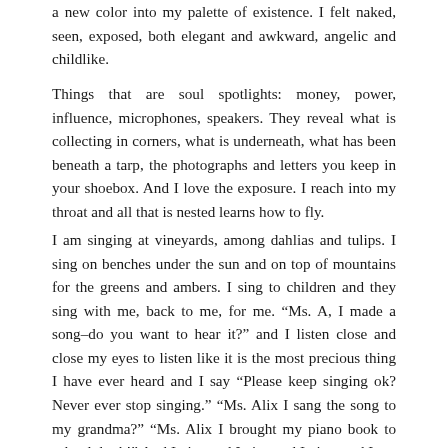a new color into my palette of existence. I felt naked, seen, exposed, both elegant and awkward, angelic and childlike.
Things that are soul spotlights: money, power, influence, microphones, speakers. They reveal what is collecting in corners, what is underneath, what has been beneath a tarp, the photographs and letters you keep in your shoebox. And I love the exposure. I reach into my throat and all that is nested learns how to fly.
I am singing at vineyards, among dahlias and tulips. I sing on benches under the sun and on top of mountains for the greens and ambers. I sing to children and they sing with me, back to me, for me. “Ms. A, I made a song–do you want to hear it?” and I listen close and close my eyes to listen like it is the most precious thing I have ever heard and I say “Please keep singing ok? Never ever stop singing.” “Ms. Alix I sang the song to my grandma?” “Ms. Alix I brought my piano book to school–look!” And I give and I give and I give, and I